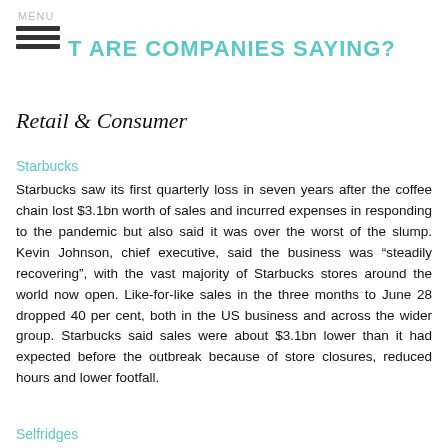MENU
WHAT ARE COMPANIES SAYING?
Retail & Consumer
Starbucks
Starbucks saw its first quarterly loss in seven years after the coffee chain lost $3.1bn worth of sales and incurred expenses in responding to the pandemic but also said it was over the worst of the slump. Kevin Johnson, chief executive, said the business was “steadily recovering”, with the vast majority of Starbucks stores around the world now open. Like-for-like sales in the three months to June 28 dropped 40 per cent, both in the US business and across the wider group. Starbucks said sales were about $3.1bn lower than it had expected before the outbreak because of store closures, reduced hours and lower footfall.
Selfridges